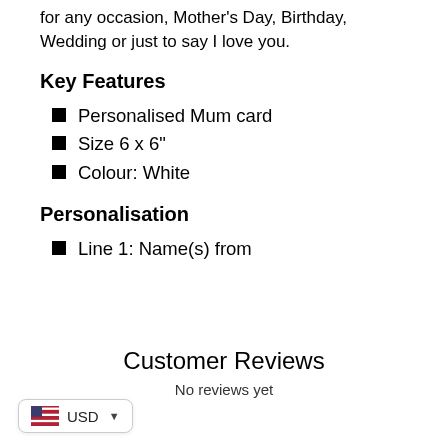for any occasion, Mother's Day, Birthday, Wedding or just to say I love you.
Key Features
Personalised Mum card
Size 6 x 6"
Colour: White
Personalisation
Line 1: Name(s) from
Customer Reviews
No reviews yet